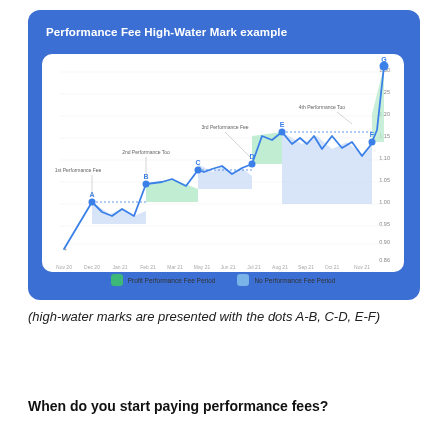[Figure (line-chart): Line chart showing fund NAV over time from Nov 20 to Nov 21, with labeled high-water marks at points A, B, C, D, E (implied), F, G. Shaded regions indicate profit performance fee periods (green) and no performance fee periods (blue). Annotations label 1st, 2nd, 3rd, 4th Performance Fee periods.]
(high-water marks are presented with the dots A-B, C-D, E-F)
When do you start paying performance fees?